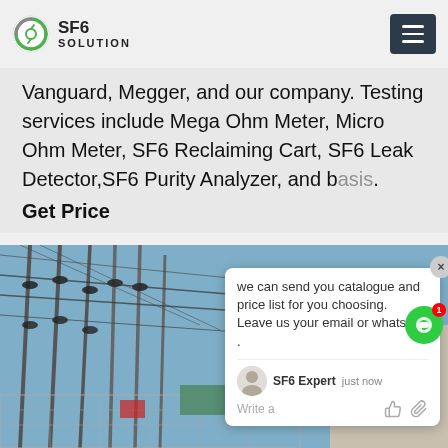SF6 SOLUTION
Vanguard, Megger, and our company. Testing services include Mega Ohm Meter, Micro Ohm Meter, SF6 Reclaiming Cart, SF6 Leak Detector,SF6 Purity Analyzer, and basis.
Get Price
[Figure (photo): Outdoor electrical substation with high-voltage equipment, insulators, conductors, and metal structures under blue sky]
we can send you catalogue and price list for you choosing. Leave us your email or whatsapp . SF6 Expert just now Write a